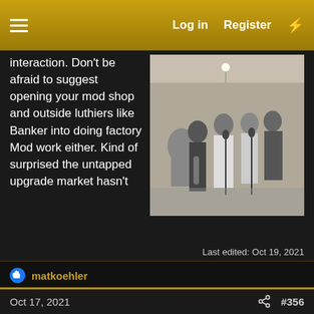Log in  Register
interaction. Don't be afraid to suggest opening your mod shop and outside luthiers like Banker into doing factory Mod work either. Kind of surprised the untapped upgrade market hasn't found a factory outlet…
[Figure (photo): Black and white photograph of a musical group performing on stage, several singers/performers visible]
Last edited: Oct 19, 2021
matkoehler
Oct 17, 2021  #356
Gas4LPs
Member